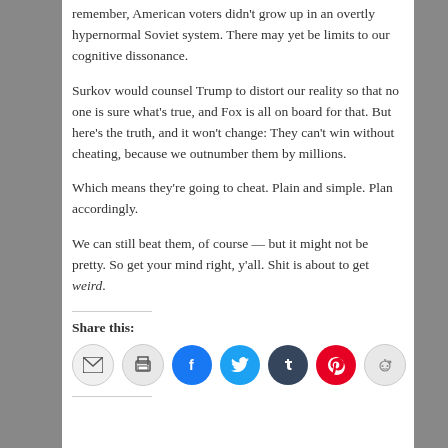remember, American voters didn't grow up in an overtly hypernormal Soviet system. There may yet be limits to our cognitive dissonance.
Surkov would counsel Trump to distort our reality so that no one is sure what's true, and Fox is all on board for that. But here's the truth, and it won't change: They can't win without cheating, because we outnumber them by millions.
Which means they're going to cheat. Plain and simple. Plan accordingly.
We can still beat them, of course — but it might not be pretty. So get your mind right, y'all. Shit is about to get weird.
Share this:
[Figure (infographic): Social sharing icons: email, print, Facebook, Twitter, Tumblr, Pinterest, Reddit]